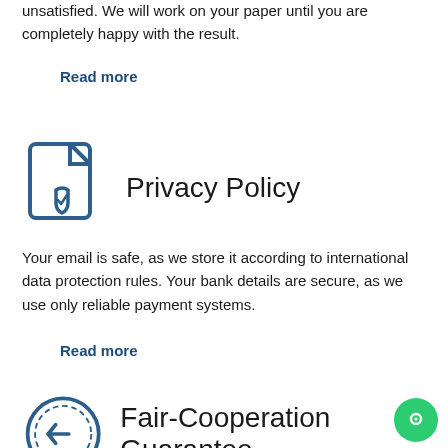unsatisfied. We will work on your paper until you are completely happy with the result.
Read more
[Figure (illustration): Document icon with a shield/checkmark badge, in dark blue outline style]
Privacy Policy
Your email is safe, as we store it according to international data protection rules. Your bank details are secure, as we use only reliable payment systems.
Read more
[Figure (illustration): Clock/gear icon in a circle, dark blue outline style]
Fair-Cooperation Guarantee